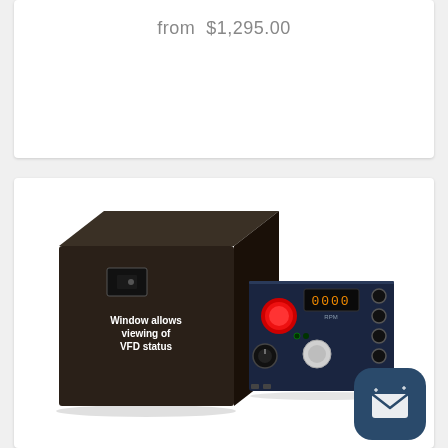from $1,295.00
[Figure (photo): Product photo showing a dark metal VFD controller enclosure box with a window labeled 'Window allows viewing of VFD status', alongside a dark blue control panel featuring a red emergency stop button, digital RPM display showing '0000', control knobs, and multiple connector ports.]